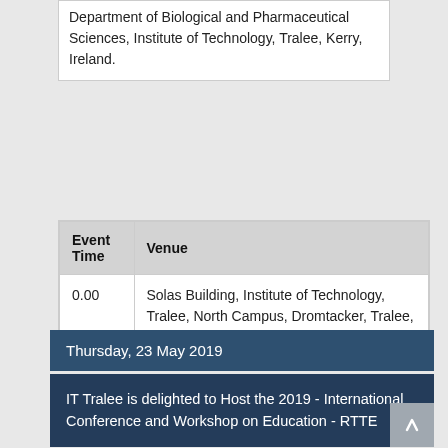Department of Biological and Pharmaceutical Sciences, Institute of Technology, Tralee, Kerry, Ireland.
| Event Time | Venue |
| --- | --- |
| 0.00 | Solas Building, Institute of Technology, Tralee, North Campus, Dromtacker, Tralee, Co. Kerry, Ireland. V92HD4V. |
Thursday, 23 May 2019
IT Tralee is delighted to Host the 2019 - International Conference and Workshop on Education - RTTE